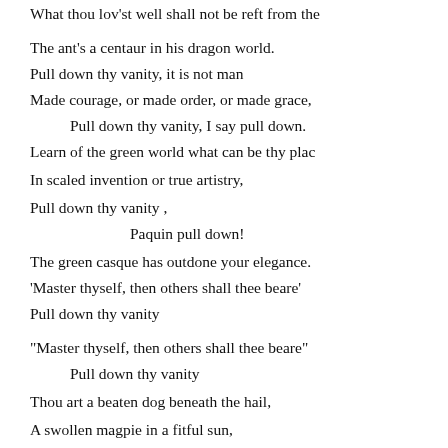What thou lov'st well shall not be reft from the
The ant's a centaur in his dragon world.
Pull down thy vanity, it is not man
Made courage, or made order, or made grace,
Pull down thy vanity, I say pull down.
Learn of the green world what can be thy plac
In scaled invention or true artistry,
Pull down thy vanity ,
Paquin pull down!
The green casque has outdone your elegance.
'Master thyself, then others shall thee beare'
Pull down thy vanity
"Master thyself, then others shall thee beare"
Pull down thy vanity
Thou art a beaten dog beneath the hail,
A swollen magpie in a fitful sun,
Half black half white
Nor knowst'ou wing from tail
Pull down thy vanity,